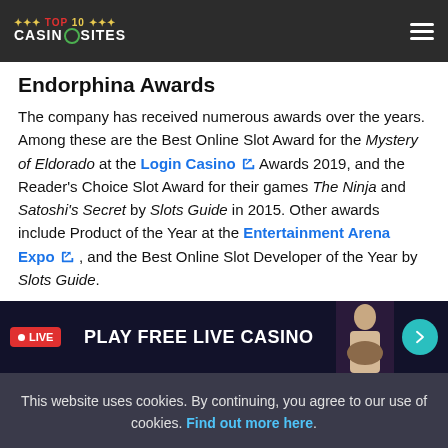TOP 10 CASINO SITES
Endorphina Awards
The company has received numerous awards over the years. Among these are the Best Online Slot Award for the Mystery of Eldorado at the Login Casino Awards 2019, and the Reader's Choice Slot Award for their games The Ninja and Satoshi's Secret by Slots Guide in 2015. Other awards include Product of the Year at the Entertainment Arena Expo , and the Best Online Slot Developer of the Year by Slots Guide.
[Figure (screenshot): Dark banner advertisement: LIVE badge on left, PLAY FREE LIVE CASINO text in center, casino dealer image on right, teal arrow button]
This website uses cookies. By continuing, you agree to our use of cookies. Find out more here.
Agree